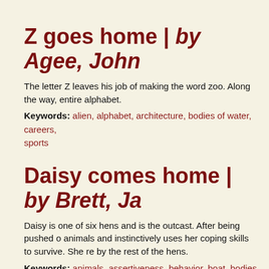Z goes home | by Agee, John
The letter Z leaves his job of making the word zoo. Along the way, entire alphabet.
Keywords: alien, alphabet, architecture, bodies of water, careers, sports
Daisy comes home | by Brett, Ja
Daisy is one of six hens and is the outcast. After being pushed o animals and instinctively uses her coping skills to survive. She re by the rest of the hens.
Keywords: animals, assertiveness, behavior, boat, bodies of wa coping, dog, feelings, fishing, happiness, market, monkey, multic transportation
Clarice Bean: That's me | by Chi
A girl named Clarice is part of a typical modern family. She really